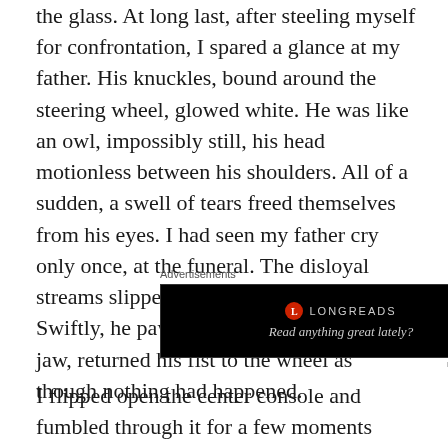the glass. At long last, after steeling myself for confrontation, I spared a glance at my father. His knuckles, bound around the steering wheel, glowed white. He was like an owl, impossibly still, his head motionless between his shoulders. All of a sudden, a swell of tears freed themselves from his eyes. I had seen my father cry only once, at the funeral. The disloyal streams slipped across his cheekbones. Swiftly, he pawed at his face, clenched his jaw, returned his fist to the wheel as though nothing had happened.
[Figure (screenshot): Longreads advertisement banner with black background, red circular logo, brand name 'LONGREADS', and tagline 'Read anything great lately?']
Advertisements
REPORT THIS AD
I flipped open the center console and fumbled through it for a few moments before extracting what it was I